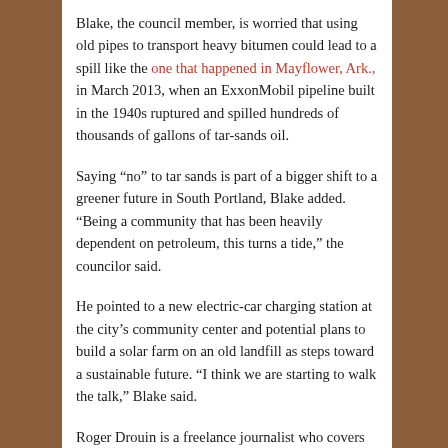Blake, the council member, is worried that using old pipes to transport heavy bitumen could lead to a spill like the one that happened in Mayflower, Ark., in March 2013, when an ExxonMobil pipeline built in the 1940s ruptured and spilled hundreds of thousands of gallons of tar-sands oil.
Saying “no” to tar sands is part of a bigger shift to a greener future in South Portland, Blake added. “Being a community that has been heavily dependent on petroleum, this turns a tide,” the councilor said.
He pointed to a new electric-car charging station at the city’s community center and potential plans to build a solar farm on an old landfill as steps toward a sustainable future. “I think we are starting to walk the talk,” Blake said.
Roger Drouin is a freelance journalist who covers environmental issues. When he’s not reporting or writing, he is out getting almost lost in the woods. He blogs at rogersoutdoorblog.com.